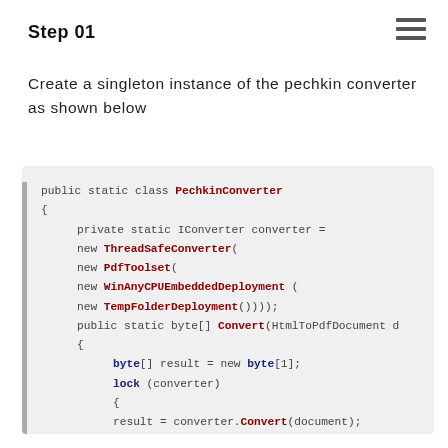Step 01
Create a singleton instance of the pechkin converter as shown below
[Figure (screenshot): Code block showing a C# public static class PechkinConverter with a private static IConverter using ThreadSafeConverter, PdfToolset, WinAnyCPUEmbeddedDeployment, TempFolderDeployment, and a public static byte[] Convert method that locks the converter and returns the result.]